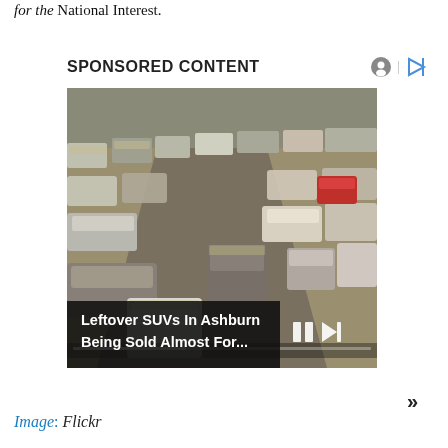for the National Interest.
SPONSORED CONTENT
[Figure (screenshot): Video advertisement showing an aerial view of a large parking lot filled with many cars covered in dust/mud. Video player controls (pause and skip buttons) are visible at the bottom right, with a progress bar. A dark overlay caption reads: 'Leftover SUVs In Ashburn Being Sold Almost For...']
»
Image: Flickr